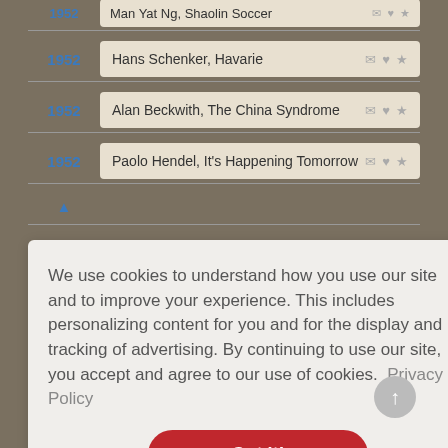1952 — Man Yat Ng, Shaolin Soccer
1952 — Hans Schenker, Havarie
1952 — Alan Beckwith, The China Syndrome
1952 — Paolo Hendel, It's Happening Tomorrow
We use cookies to understand how you use our site and to improve your experience. This includes personalizing content for you and for the display and tracking of advertising. By continuing to use our site, you accept and agree to our use of cookies. Privacy Policy
Got it!